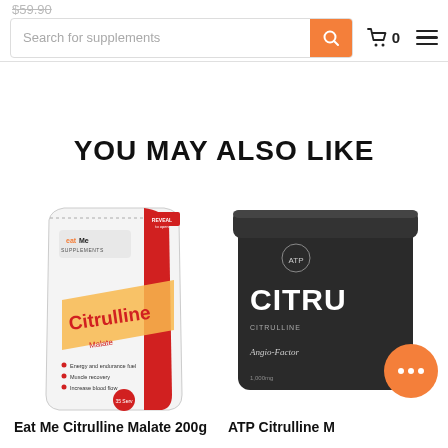$59.90 | Search for supplements | Cart 0 | Menu
YOU MAY ALSO LIKE
[Figure (photo): Eat Me Supplements Citrulline Malate 200g white and red bag with ESSENTIALS text on red side panel]
Eat Me Citrulline Malate 200g
[Figure (photo): ATP Citrulline Malate dark black jar, partially cropped on right side of page]
ATP Citrulline M